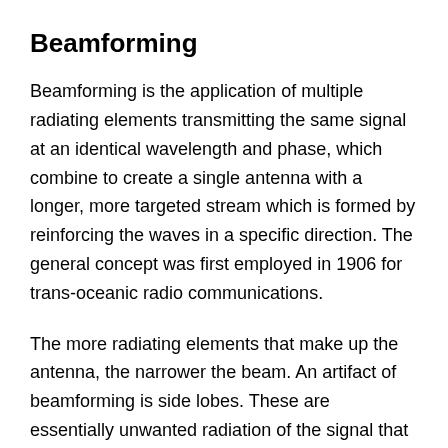Beamforming
Beamforming is the application of multiple radiating elements transmitting the same signal at an identical wavelength and phase, which combine to create a single antenna with a longer, more targeted stream which is formed by reinforcing the waves in a specific direction.  The general concept was first employed in 1906 for trans-oceanic radio communications.
The more radiating elements that make up the antenna, the narrower the beam.  An artifact of beamforming is side lobes.  These are essentially unwanted radiation of the signal that forms the main lobe in different directions.  Poor engineering of antenna arrays would result in excessive interference by a beamformed